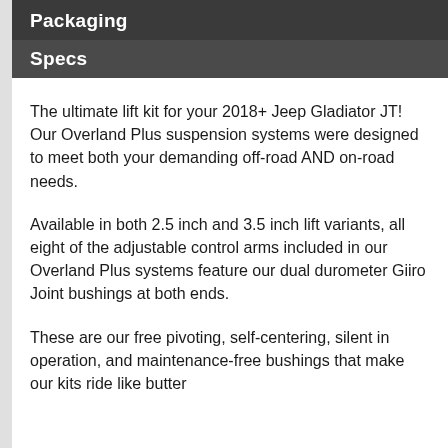Packaging
Specs
The ultimate lift kit for your 2018+ Jeep Gladiator JT! Our Overland Plus suspension systems were designed to meet both your demanding off-road AND on-road needs.
Available in both 2.5 inch and 3.5 inch lift variants, all eight of the adjustable control arms included in our Overland Plus systems feature our dual durometer Giiro Joint bushings at both ends.
These are our free pivoting, self-centering, silent in operation, and maintenance-free bushings that make our kits ride like butter